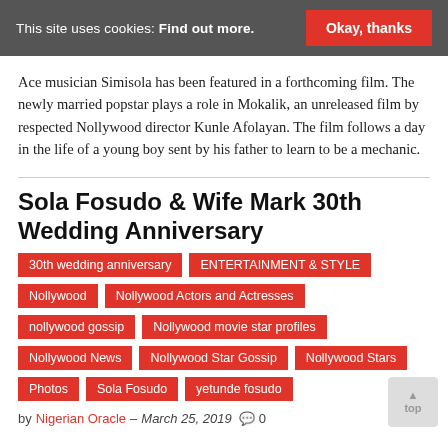This site uses cookies: Find out more. Okay, thanks
Ace musician Simisola has been featured in a forthcoming film. The newly married popstar plays a role in Mokalik, an unreleased film by respected Nollywood director Kunle Afolayan. The film follows a day in the life of a young boy sent by his father to learn to be a mechanic.
Sola Fosudo & Wife Mark 30th Wedding Anniversary
30th wedding anniversary
ENTERTAINMENT & STYLE
Nollywood
Nollywood Actors and Actresses
nollywood gossip
Nollywood movie star profiles
Nollywood News
Nollywood Star Gossip
Nollywood Stars
Photos
Sola Fosudo
yetunde fosudo
by Nigerian Oracle - March 25, 2019  0